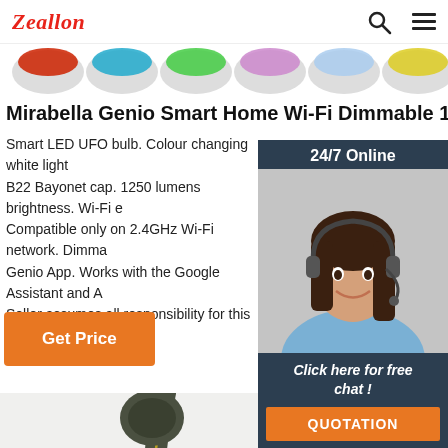Zeallon
[Figure (photo): Row of LED bulbs with colored lighting tops - red, blue/teal, green, pink/purple, light blue, yellow]
Mirabella Genio Smart Home Wi-Fi Dimmable 15W UFO
Smart LED UFO bulb. Colour changing white light. B22 Bayonet cap. 1250 lumens brightness. Wi-Fi e. Compatible only on 2.4GHz Wi-Fi network. Dimma. Genio App. Works with the Google Assistant and A. Seller assumes all responsibility for this listing.
[Figure (photo): Customer service representative - woman with headset smiling, with '24/7 Online' header and 'Click here for free chat!' text and QUOTATION button]
Get Price
[Figure (photo): Dark olive/green wireless earbuds (TWS style) shown together forming a V shape against a white background]